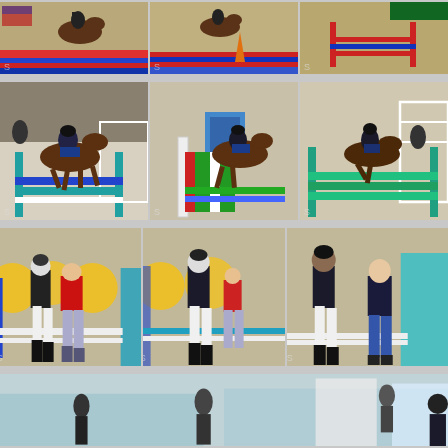[Figure (photo): Three photos in a horizontal strip showing horses jumping colorful red-blue-white striped show jumping fences in an outdoor equestrian arena.]
[Figure (photo): Three photos of riders on dark brown horses jumping over colorful show jumping obstacles (teal/blue and green/red) in an indoor/outdoor arena with white fencing and stone wall backdrop.]
[Figure (photo): Three to four photos of equestrians in black jackets and white breeches walking in an arena with colorful yellow/blue/green jump obstacles; one person in a red hoodie visible.]
[Figure (photo): Partial bottom strip showing riders and horses in a light blue arena setting.]